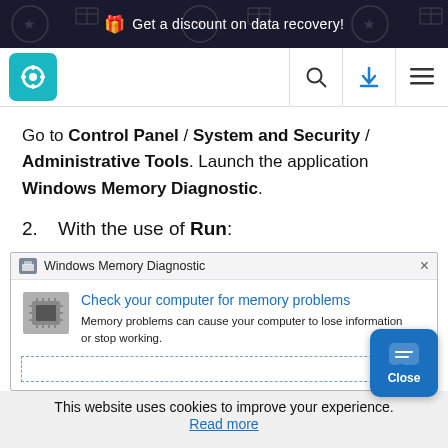Get a discount on data recovery!
[Figure (screenshot): Website navigation bar with teal gear logo icon, search icon, download icon, and hamburger menu]
Go to Control Panel / System and Security / Administrative Tools. Launch the application Windows Memory Diagnostic.
2. With the use of Run:
[Figure (screenshot): Windows Memory Diagnostic dialog: Check your computer for memory problems. Memory problems can cause your computer to lose information or stop working.]
This website uses cookies to improve your experience.
Read more